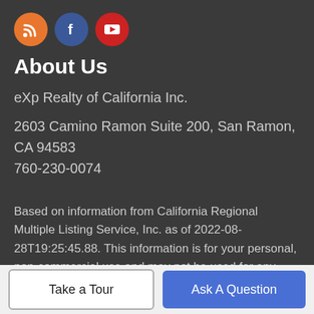[Figure (other): Three social media icon circles: RSS (orange), Facebook (blue), YouTube (red with play button)]
About Us
eXp Realty of California Inc.
2603 Camino Ramon Suite 200, San Ramon, CA 94583
760-230-0074
Based on information from California Regional Multiple Listing Service, Inc. as of 2022-08-28T19:25:45.88. This information is for your personal, non-commercial use and may not be used for any purpose other than to identify prospective properties you may be interested in purchasing. Display of MLS data is deemed reliable but is not guaranteed accurate by the MLS or eXp Realty of
Take a Tour  |  Ask A Question